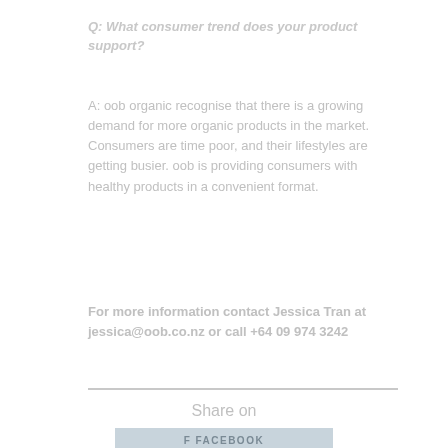Q: What consumer trend does your product support?
A: oob organic recognise that there is a growing demand for more organic products in the market. Consumers are time poor, and their lifestyles are getting busier. oob is providing consumers with healthy products in a convenient format.
For more information contact Jessica Tran at jessica@oob.co.nz or call +64 09 974 3242
Share on
FACEBOOK